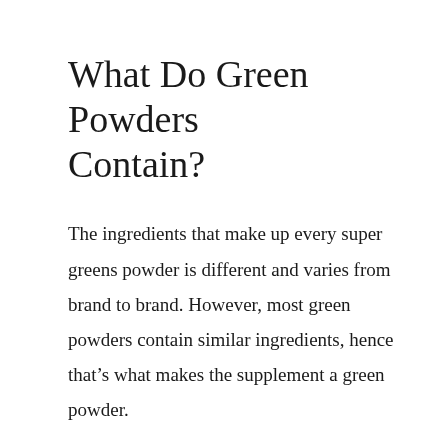What Do Green Powders Contain?
The ingredients that make up every super greens powder is different and varies from brand to brand. However, most green powders contain similar ingredients, hence that’s what makes the supplement a green powder.
Typically, a green formula will include:
Grasses such as Wheat Grass and Barley